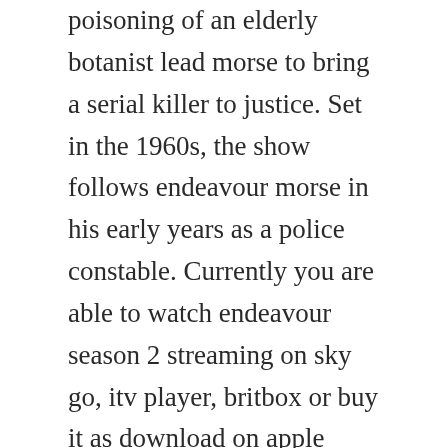poisoning of an elderly botanist lead morse to bring a serial killer to justice. Set in the 1960s, the show follows endeavour morse in his early years as a police constable. Currently you are able to watch endeavour season 2 streaming on sky go, itv player, britbox or buy it as download on apple itunes, amazon video. Jan 02, 2012 visit tunefind for music from your favorite tv shows and movies. Series 2 of endeavour sees morse return to active duty at oxford city police. The bbc offers the best in police drama and morse et al. This is the story of detective endeavor morse as a fledgling